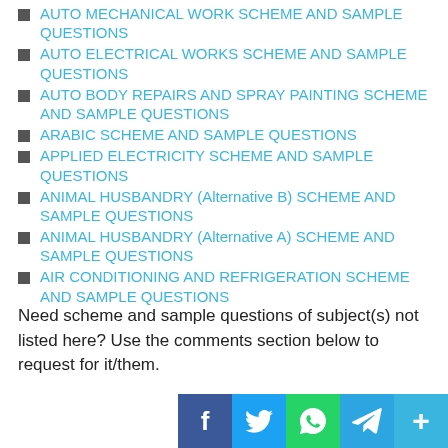AUTO MECHANICAL WORK SCHEME AND SAMPLE QUESTIONS
AUTO ELECTRICAL WORKS SCHEME AND SAMPLE QUESTIONS
AUTO BODY REPAIRS AND SPRAY PAINTING SCHEME AND SAMPLE QUESTIONS
ARABIC SCHEME AND SAMPLE QUESTIONS
APPLIED ELECTRICITY SCHEME AND SAMPLE QUESTIONS
ANIMAL HUSBANDRY (Alternative B) SCHEME AND SAMPLE QUESTIONS
ANIMAL HUSBANDRY (Alternative A) SCHEME AND SAMPLE QUESTIONS
AIR CONDITIONING AND REFRIGERATION SCHEME AND SAMPLE QUESTIONS
Need scheme and sample questions of subject(s) not listed here? Use the comments section below to request for it/them.